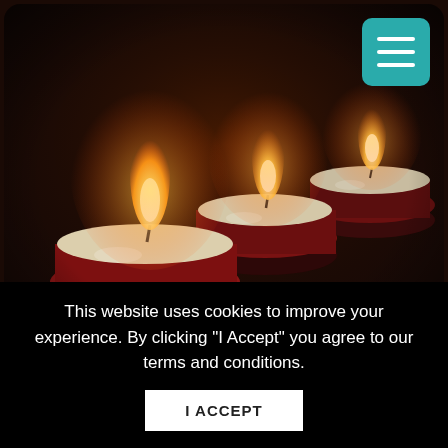[Figure (photo): Three red tea-light candles with glowing flames against a dark background, arranged in a diagonal line from foreground to background.]
We have never been told that our thoughts shouldn't have control over everything in our life
This website uses cookies to improve your experience. By clicking "I Accept" you agree to our terms and conditions.
I ACCEPT